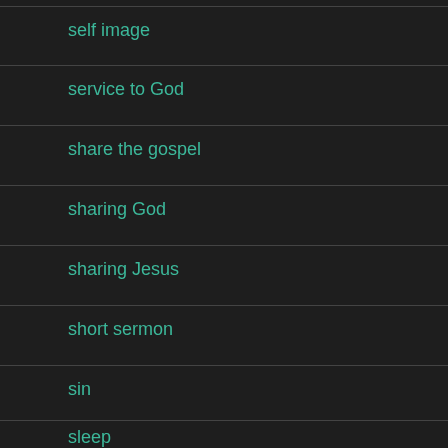self image
service to God
share the gospel
sharing God
sharing Jesus
short sermon
sin
sleep